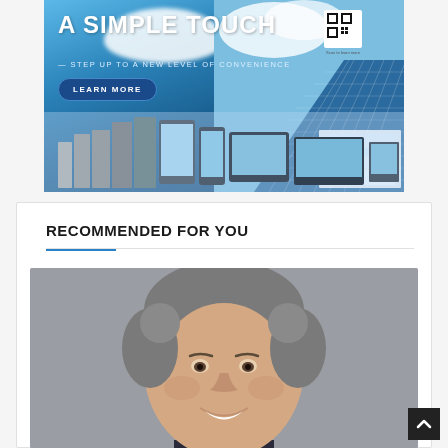[Figure (illustration): Advertisement banner for a smart intercom/access control product line with headline 'A SIMPLE TOUCH — STEP UP TO A NEW LEVEL OF CONVENIENCE', a 'LEARN MORE' button, QR code, various smart devices displayed at bottom, sky and glass building in background.]
RECOMMENDED FOR YOU
[Figure (photo): Headshot of a middle-aged man with salt-and-pepper hair, smiling, wearing a dark jacket, against a grey background.]